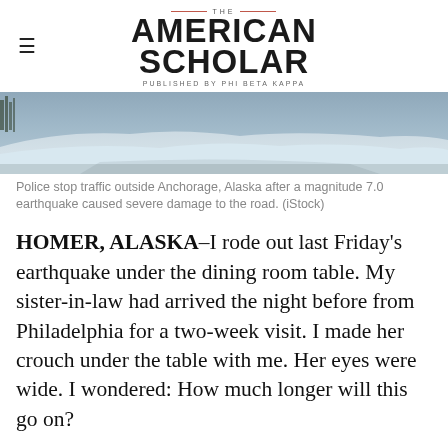THE AMERICAN SCHOLAR — PUBLISHED BY PHI BETA KAPPA
[Figure (photo): Snow-covered road or embankment outside Anchorage, Alaska after magnitude 7.0 earthquake damage]
Police stop traffic outside Anchorage, Alaska after a magnitude 7.0 earthquake caused severe damage to the road. (iStock)
HOMER, ALASKA–I rode out last Friday's earthquake under the dining room table. My sister-in-law had arrived the night before from Philadelphia for a two-week visit. I made her crouch under the table with me. Her eyes were wide. I wondered: How much longer will this go on?